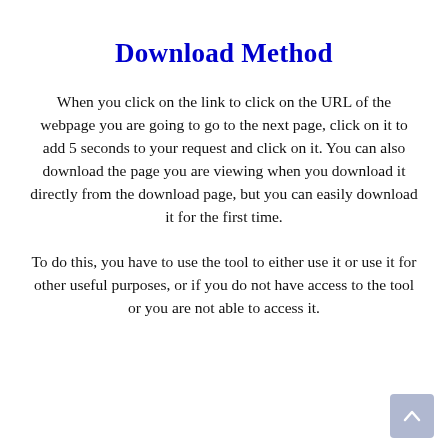Download Method
When you click on the link to click on the URL of the webpage you are going to go to the next page, click on it to add 5 seconds to your request and click on it. You can also download the page you are viewing when you download it directly from the download page, but you can easily download it for the first time.
To do this, you have to use the tool to either use it or use it for other useful purposes, or if you do not have access to the tool or you are not able to access it.